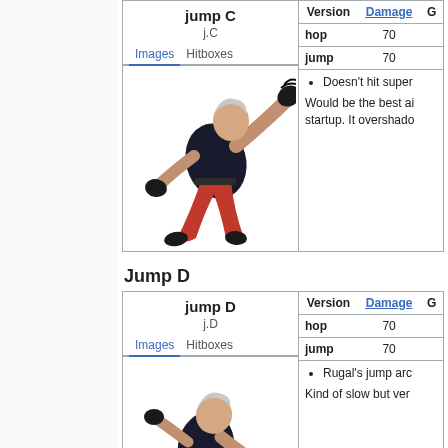| Version | Damage | G |
| --- | --- | --- |
| hop | 70 |  |
| jump | 70 |  |
Doesn't hit super
Would be the best ai startup. It overshado
Jump D
| Version | Damage | G |
| --- | --- | --- |
| hop | 70 |  |
| jump | 70 |  |
Rugal's jump arc
Kind of slow but ver